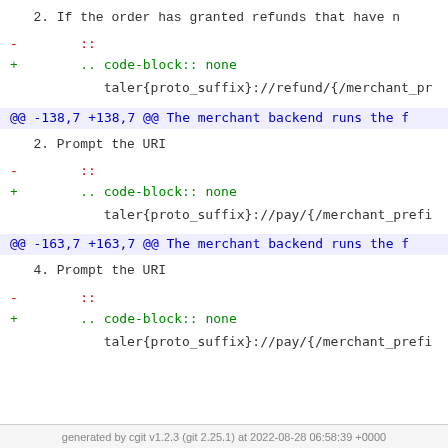2. If the order has granted refunds that have n
-        ::
+        .. code-block:: none
taler{proto_suffix}://refund/{/merchant_pr
@@ -138,7 +138,7 @@ The merchant backend runs the f
2. Prompt the URI
-        ::
+        .. code-block:: none
taler{proto_suffix}://pay/{/merchant_prefi
@@ -163,7 +163,7 @@ The merchant backend runs the f
4. Prompt the URI
-        ::
+        .. code-block:: none
taler{proto_suffix}://pay/{/merchant_prefi
generated by cgit v1.2.3 (git 2.25.1) at 2022-08-28 06:58:39 +0000